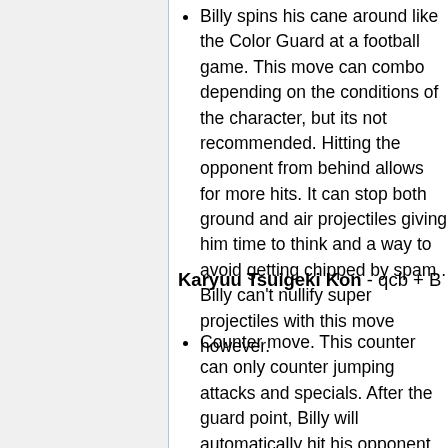Billy spins his cane around like the Color Guard at a football game. This move can combo depending on the conditions of the character, but its not recommended. Hitting the opponent from behind allows for more hits. It can stop both ground and air projectiles giving him time to think and a way to avoid getting chipped by spam . Billy can't nullify super projectiles with this move however.
Karyuu Tsuigeki Kon - qcb + B
Counter move. This counter can only counter jumping attacks and specials. After the guard point, Billy will automatically hit his opponent with a quick combo. Cannot be super cancelled.